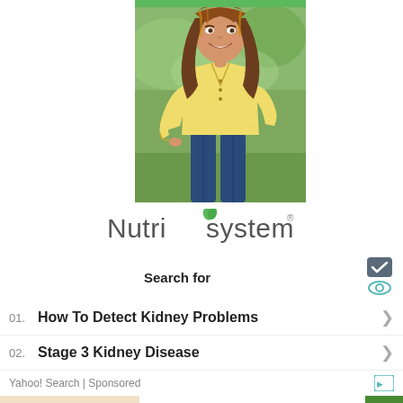[Figure (photo): Woman in yellow long-sleeve top and blue jeans posing outdoors, used in a Nutrisystem advertisement. Green bar at top of image.]
[Figure (logo): Nutrisystem logo with green leaf accent on the letter 'i']
Search for
01. How To Detect Kidney Problems
02. Stage 3 Kidney Disease
Yahoo! Search | Sponsored